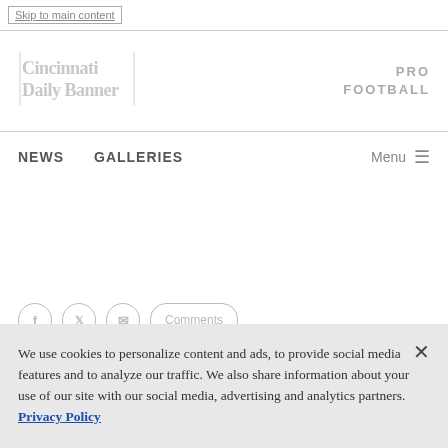Skip to main content
Cincinnati Daily Banner | PRO FOOTBALL
NEWS  GALLERIES  Menu
[Figure (screenshot): Social media sharing icons (Facebook, Twitter, email, and a pill-shaped share button) partially visible]
We use cookies to personalize content and ads, to provide social media features and to analyze our traffic. We also share information about your use of our site with our social media, advertising and analytics partners. Privacy Policy